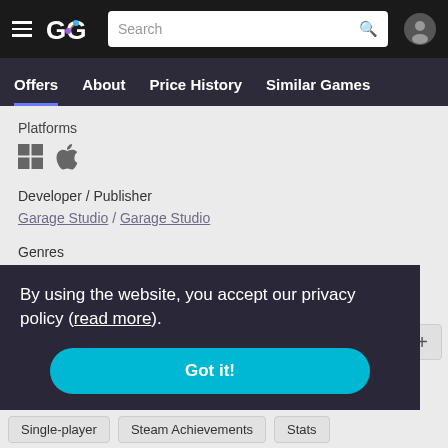GG navigation bar with search
Offers | About | Price History | Similar Games
Platforms
[Figure (illustration): Windows and Apple platform icons]
Developer / Publisher
Garage Studio / Garage Studio
Genres
Casual
Indie
Strategy
By using the website, you accept our privacy policy (read more).
Got it!
Single-player
Steam Achievements
Stats